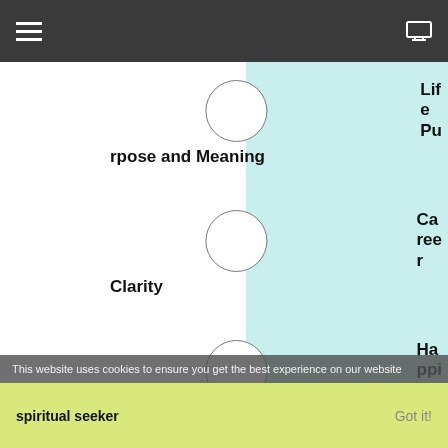Navigation bar with hamburger menu and monitor icon
Life Purpose and Meaning
Career Clarity
Happiness Joy in life
I am a spiritual seeker
This website uses cookies to ensure you get the best experience on our website
spiritual seeker
Got it!